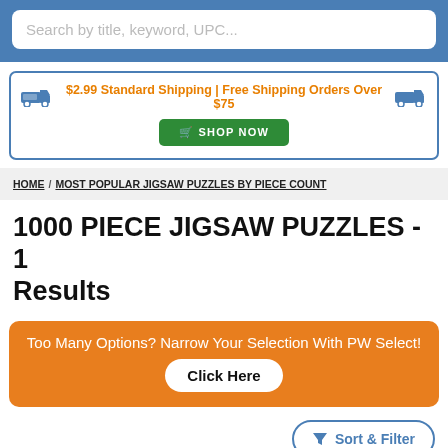Search by title, keyword, UPC...
$2.99 Standard Shipping | Free Shipping Orders Over $75
SHOP NOW
HOME / MOST POPULAR JIGSAW PUZZLES BY PIECE COUNT
1000 PIECE JIGSAW PUZZLES - 1 Results
Too Many Options? Narrow Your Selection With PW Select! Click Here
Sort & Filter